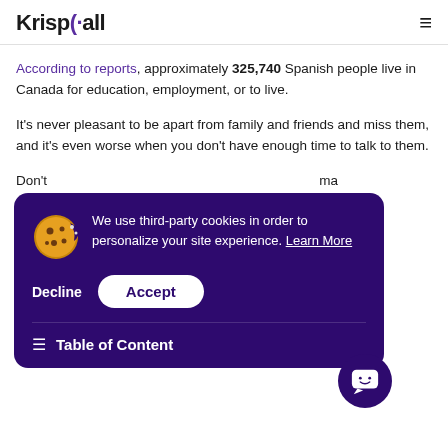KrispCall
According to reports, approximately 325,740 Spanish people live in Canada for education, employment, or to live.
It's never pleasant to be apart from family and friends and miss them, and it's even worse when you don't have enough time to talk to them.
Don't worry anymore. The best solution is to use a virtual number...
For...and...
[Figure (screenshot): Cookie consent banner overlay with dark purple background. Shows cookie icon, text 'We use third-party cookies in order to personalize your site experience. Learn More', Decline and Accept buttons, and Table of Content link.]
Read on to learn how to call Canada from Spain with different